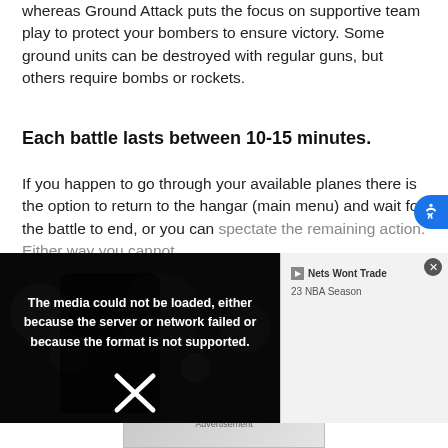whereas Ground Attack puts the focus on supportive team play to protect your bombers to ensure victory. Some ground units can be destroyed with regular guns, but others require bombs or rockets.
Each battle lasts between 10-15 minutes.
If you happen to go through your available planes there is the option to return to the hangar (main menu) and wait for the battle to end, or you can spectate the remaining action. Either way you cannot
[Figure (screenshot): Video player overlay showing error message: 'The media could not be loaded, either because the server or network failed or because the format is not supported.' with an X close button. Behind it is a dark video thumbnail showing a basketball player. A side panel shows 'Nets Wont Trade' and '23 NBA Season' text.]
allows for nearly limitless/endless action (depending on queue and loading times).
[Figure (screenshot): Bottom advertisement banner image partially visible.]